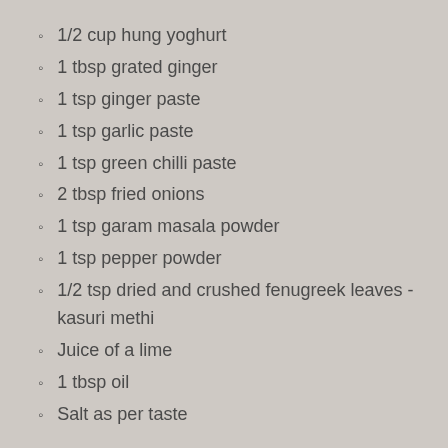1/2 cup hung yoghurt
1 tbsp grated ginger
1 tsp ginger paste
1 tsp garlic paste
1 tsp green chilli paste
2 tbsp fried onions
1 tsp garam masala powder
1 tsp pepper powder
1/2 tsp dried and crushed fenugreek leaves - kasuri methi
Juice of a lime
1 tbsp oil
Salt as per taste